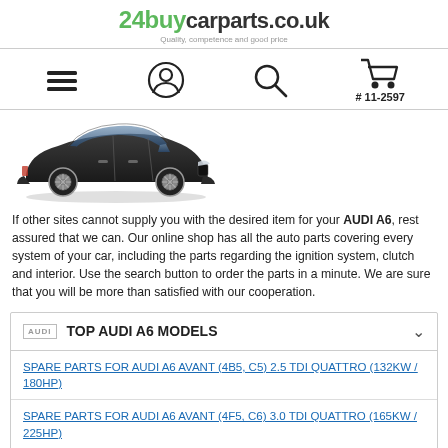24buycarparts.co.uk — Quality, competence and good price
[Figure (logo): 24buycarparts.co.uk logo with tagline]
[Figure (screenshot): Navigation bar with menu, user, search, and cart icons. Cart shows # 11-2597]
[Figure (photo): Dark Audi A6 car photo]
If other sites cannot supply you with the desired item for your AUDI A6, rest assured that we can. Our online shop has all the auto parts covering every system of your car, including the parts regarding the ignition system, clutch and interior. Use the search button to order the parts in a minute. We are sure that you will be more than satisfied with our cooperation.
TOP AUDI A6 MODELS
SPARE PARTS FOR AUDI A6 AVANT (4B5, C5) 2.5 TDI QUATTRO (132KW / 180HP)
SPARE PARTS FOR AUDI A6 AVANT (4F5, C6) 3.0 TDI QUATTRO (165KW / 225HP)
SPARE PARTS FOR AUDI A6 AVANT (4F5, C6) 3.0 TDI QUATTRO (171KW / 233HP)